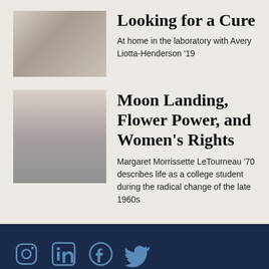[Figure (photo): Partial photo of lab setting with Avery Liotta-Henderson '19]
Looking for a Cure
At home in the laboratory with Avery Liotta-Henderson '19
[Figure (photo): Black and white portrait photo of Margaret Morrissette LeTourneau]
Moon Landing, Flower Power, and Women's Rights
Margaret Morrissette LeTourneau '70 describes life as a college student during the radical change of the late 1960s
[Figure (infographic): Social media icons: Instagram, LinkedIn, Facebook, Twitter]
Stay in touch with Saint Joseph's College of Maine